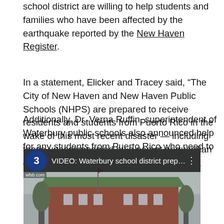school district are willing to help students and families who have been affected by the earthquake reported by the New Haven Register.
In a statement, Elicker and Tracey said, “The City of New Haven and New Haven Public Schools (NHPS) are prepared to receive residents and students from Puerto Rico in the wake of this most recent disaster — including those unaccompanied by a parent or guardian — and provide them with supplies, clothing, and transportation.”
Additionally, Dr. Verna Ruffin, superintendent of Waterbury public schools also announced help for any students from Puerto Rico who need to relocate.
[Figure (screenshot): Embedded video thumbnail showing a news clip titled 'VIDEO: Waterbury school district prepar...' with a Channel 3 (WFSB) logo, and a building with a flag pole in the background.]